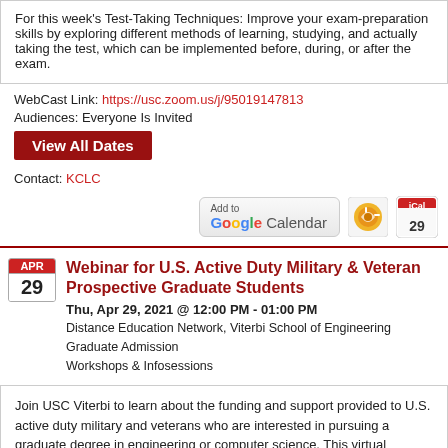For this week's Test-Taking Techniques: Improve your exam-preparation skills by exploring different methods of learning, studying, and actually taking the test, which can be implemented before, during, or after the exam.
WebCast Link: https://usc.zoom.us/j/95019147813
Audiences: Everyone Is Invited
View All Dates
Contact: KCLC
[Figure (infographic): Add to Google Calendar button and two calendar icon buttons (Outlook and iCal)]
Webinar for U.S. Active Duty Military & Veteran Prospective Graduate Students
Thu, Apr 29, 2021 @ 12:00 PM - 01:00 PM
Distance Education Network, Viterbi School of Engineering
Graduate Admission
Workshops & Infosessions
Join USC Viterbi to learn about the funding and support provided to U.S. active duty military and veterans who are interested in pursuing a graduate degree in engineering or computer science. This virtual information session via